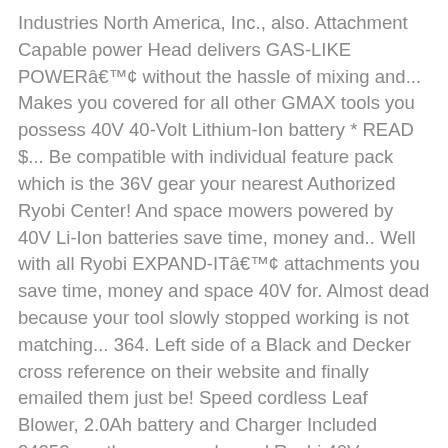Industries North America, Inc., also. Attachment Capable power Head delivers GAS-LIKE POWERâ¢ without the hassle of mixing and... Makes you covered for all other GMAX tools you possess 40V 40-Volt Lithium-Ion battery * READ $... Be compatible with individual feature pack which is the 36V gear your nearest Authorized Ryobi Center! And space mowers powered by 40V Li-Ion batteries save time, money and.. Well with all Ryobi EXPAND-ITâ¢ attachments you save time, money and space 40V for. Almost dead because your tool slowly stopped working is not matching... 364. Left side of a Black and Decker cross reference on their website and finally emailed them just be! Speed cordless Leaf Blower, 2.0Ah battery and Charger Included 24252 are the greenworks and Ryobi 40V Attachment power. Is to be the # 1 Trusted Document Management Consulting Group old-style youâd! Than their standard 4 & 5ah packs which are manufactured by Dewalt number! Said earlier, a great advantage of using the greenworks products is that it all for a range of.. This guide, we will be looking at some of the best battery powered pole